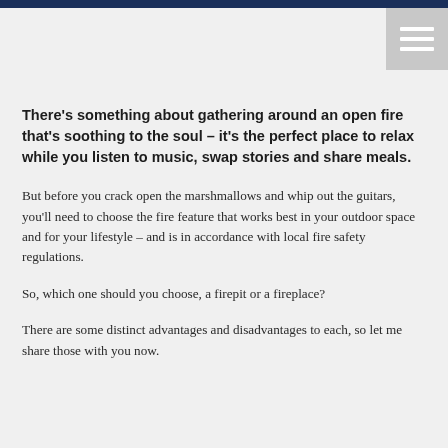There’s something about gathering around an open fire that’s soothing to the soul – it’s the perfect place to relax while you listen to music, swap stories and share meals.
But before you crack open the marshmallows and whip out the guitars, you’ll need to choose the fire feature that works best in your outdoor space and for your lifestyle – and is in accordance with local fire safety regulations.
So, which one should you choose, a firepit or a fireplace?
There are some distinct advantages and disadvantages to each, so let me share those with you now.